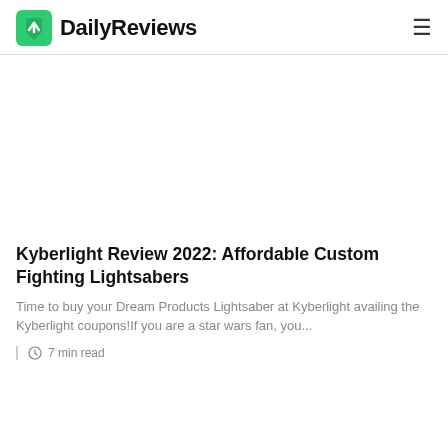DailyReviews
[Figure (illustration): Advertisement placeholder area (blank white space)]
Kyberlight Review 2022: Affordable Custom Fighting Lightsabers
Time to buy your Dream Products Lightsaber at Kyberlight availing the Kyberlight coupons!If you are a star wars fan, you...
7 min read